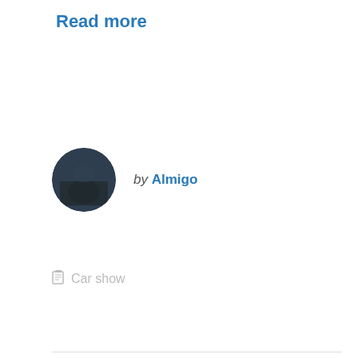Read more
by Almigo
[Figure (photo): Circular avatar photo of user Almigo showing a person in a parking garage or indoor setting]
Car show